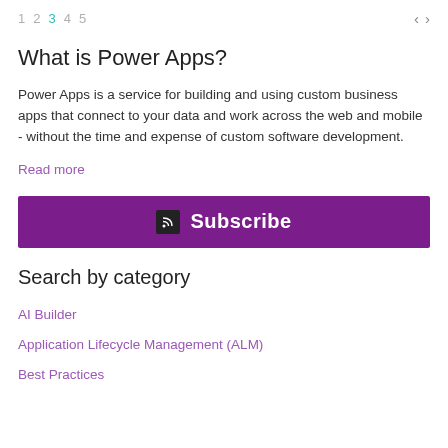1 2 3 4 5  ‹ ›
What is Power Apps?
Power Apps is a service for building and using custom business apps that connect to your data and work across the web and mobile - without the time and expense of custom software development.
Read more
[Figure (other): Subscribe button with RSS icon on purple background]
Search by category
AI Builder
Application Lifecycle Management (ALM)
Best Practices